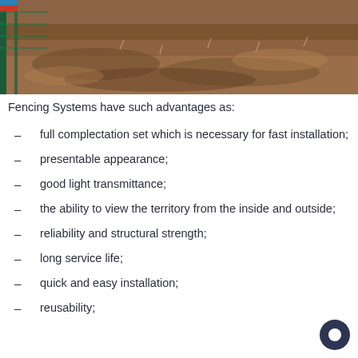[Figure (photo): Photo of a green metal fence with soil/dirt ground, construction site setting]
Fencing Systems have such advantages as:
full complectation set which is necessary for fast installation;
presentable appearance;
good light transmittance;
the ability to view the territory from the inside and outside;
reliability and structural strength;
long service life;
quick and easy installation;
reusability;